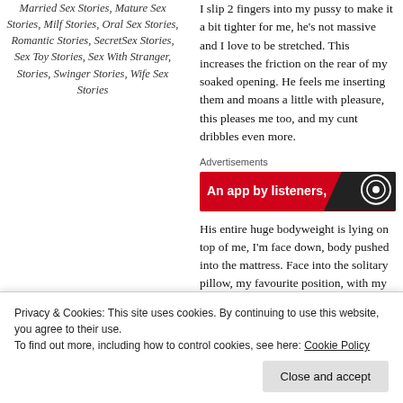Married Sex Stories, Mature Sex Stories, Milf Stories, Oral Sex Stories, Romantic Stories, SecretSex Stories, Sex Toy Stories, Sex With Stranger, Stories, Swinger Stories, Wife Sex Stories
I slip 2 fingers into my pussy to make it a bit tighter for me, he's not massive and I love to be stretched. This increases the friction on the rear of my soaked opening. He feels me inserting them and moans a little with pleasure, this pleases me too, and my cunt dribbles even more.
Advertisements
[Figure (other): Red advertisement banner with text 'An app by listeners,' and dark section on right with logo]
His entire huge bodyweight is lying on top of me, I'm face down, body pushed into the mattress. Face into the solitary pillow, my favourite position, with my hand
Privacy & Cookies: This site uses cookies. By continuing to use this website, you agree to their use.
To find out more, including how to control cookies, see here: Cookie Policy